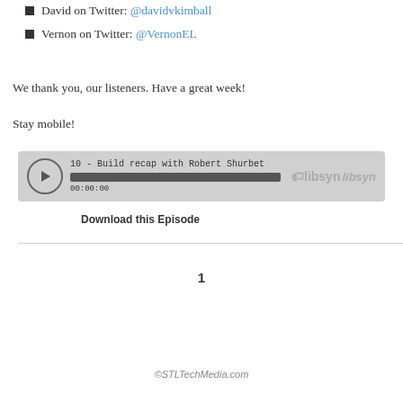David on Twitter: @davidvkimball
Vernon on Twitter: @VernonEL
We thank you, our listeners. Have a great week!
Stay mobile!
[Figure (other): Libsyn audio player widget showing episode '10 - Build recap with Robert Shurbet' with play button, progress bar at 00:00:00, and Libsyn branding]
Download this Episode
1
©STLTechMedia.com